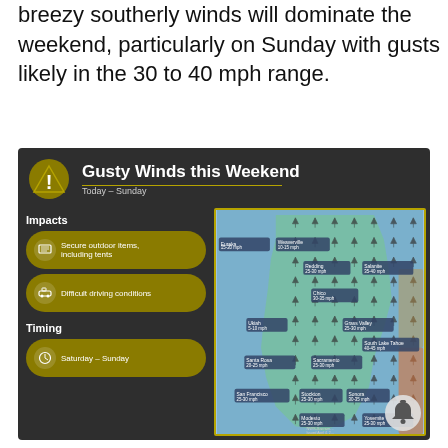breezy southerly winds will dominate the weekend, particularly on Sunday with gusts likely in the 30 to 40 mph range.
[Figure (infographic): NWS infographic titled 'Gusty Winds this Weekend, Today – Sunday' showing a map of Northern California with wind speed labels at various cities: Eureka 15-20 mph, Weaverville 10-15 mph, Redding 25-30 mph, Salanite 35-40 mph, Chico 30-35 mph, Ukiah 5-10 mph, Grass Valley 25-30 mph, South Lake Tahoe 40-45 mph, Santa Rosa 20-25 mph, Sacramento 25-30 mph, San Francisco 25-30 mph, Stockton 25-30 mph, Sonora 30-35 mph, Yosemite 25-30 mph, Modesto 25-30 mph. Left panel shows Impacts: Secure outdoor items including tents; Difficult driving conditions. Timing: Saturday – Sunday.]